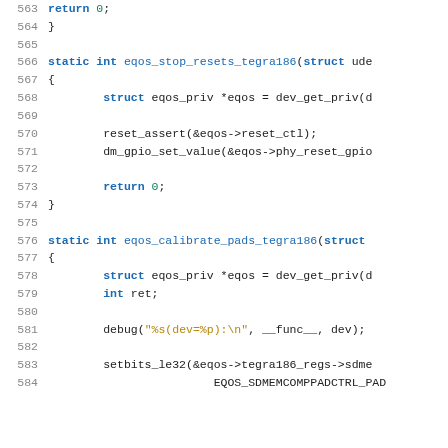[Figure (screenshot): Source code listing showing C functions eqos_stop_resets_tegra186 and eqos_calibrate_pads_tegra186, lines 563-584, with syntax highlighting: keywords in blue, strings in gold, numbers in green, on white background.]